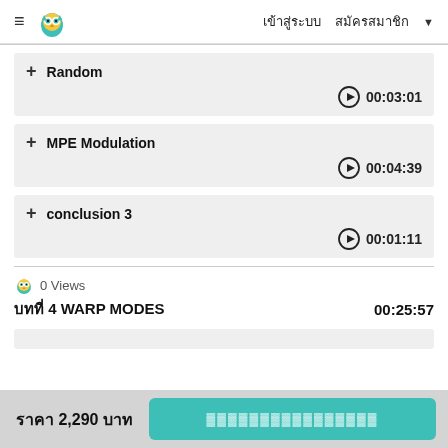≡ [owl logo] เข้าสู่ระบบ สมัครสมาชิก ▼
+ Random  ▶ 00:03:01
+ MPE Modulation  ▶ 00:04:39
+ conclusion 3  ▶ 00:01:11
0 Views
บทที่ 4 WARP MODES  00:25:57
ราคา 2,290 บาท